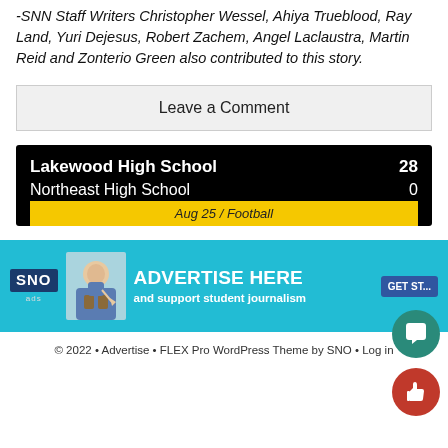-SNN Staff Writers Christopher Wessel, Ahiya Trueblood, Ray Land, Yuri Dejesus, Robert Zachem, Angel Laclaustra, Martin Reid and Zonterio Green also contributed to this story.
Leave a Comment
| Team | Score |
| --- | --- |
| Lakewood High School | 28 |
| Northeast High School | 0 |
| Aug 25 / Football |  |
[Figure (infographic): SNO ads banner: Advertise Here and support student journalism with a Get Started button and a person with a backpack]
© 2022 • Advertise • FLEX Pro WordPress Theme by SNO • Log in